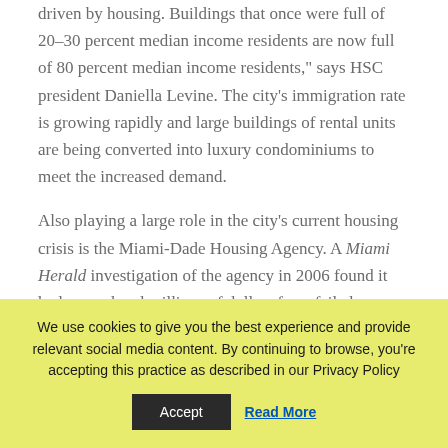driven by housing. Buildings that once were full of 20–30 percent median income residents are now full of 80 percent median income residents," says HSC president Daniella Levine. The city's immigration rate is growing rapidly and large buildings of rental units are being converted into luxury condominiums to meet the increased demand.
Also playing a large role in the city's current housing crisis is the Miami-Dade Housing Agency. A Miami Herald investigation of the agency in 2006 found it had squandered millions of dollars from failed
We use cookies to give you the best experience and provide relevant social media content. By continuing to browse, you're accepting this practice as described in our Privacy Policy